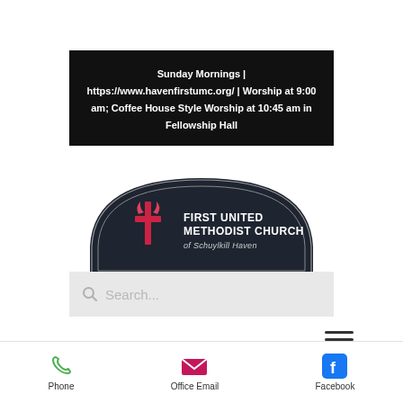Sunday Mornings | https://www.havenfirstumc.org/ | Worship at 9:00 am; Coffee House Style Worship at 10:45 am in Fellowship Hall
[Figure (logo): First United Methodist Church of Schuylkill Haven oval logo with UMC cross-and-flame symbol on dark background]
[Figure (screenshot): Search bar with placeholder text 'Search...']
[Figure (screenshot): Hamburger menu icon (three horizontal lines)]
Search Results
[Figure (screenshot): Mobile bottom navigation bar with Phone, Office Email, and Facebook icons and labels]